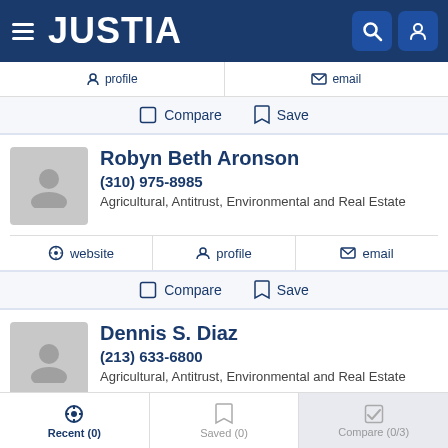JUSTIA
profile | email
Compare  Save
Robyn Beth Aronson
(310) 975-8985
Agricultural, Antitrust, Environmental and Real Estate
website  profile  email
Compare  Save
Dennis S. Diaz
(213) 633-6800
Agricultural, Antitrust, Environmental and Real Estate
Recent (0)  Saved (0)  Compare (0/3)